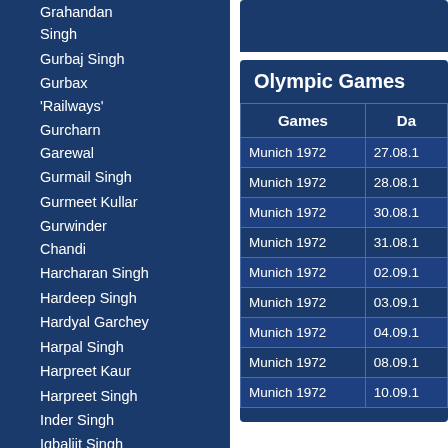Grahandan Singh
Gurbaj Singh
Gurbax 'Railways'
Gurcharn Garewal
Gurmail Singh
Gurmeet Kullar
Gurwinder Chandi
Harcharan Singh
Hardeep Singh
Hardyal Garchey
Harpal Singh
Harpreet Kaur
Harpreet Singh
Inder Singh
Iqbaljit Singh
Jagbir Singh
Jagdev Rai
Jagjit Singh
Jaswant Singh
Joginder Singh
Kehar Singh
Kulwant Singh
Manpreet Singh
Mohinder Singh
Olympic Games
| Games | Da |
| --- | --- |
| Munich 1972 | 27.08.1 |
| Munich 1972 | 28.08.1 |
| Munich 1972 | 30.08.1 |
| Munich 1972 | 31.08.1 |
| Munich 1972 | 02.09.1 |
| Munich 1972 | 03.09.1 |
| Munich 1972 | 04.09.1 |
| Munich 1972 | 08.09.1 |
| Munich 1972 | 10.09.1 |